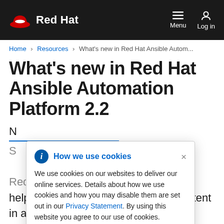Red Hat — Menu | Log in
Home > Resources > What's new in Red Hat Ansible Autom...
What's new in Red Hat Ansible Automation Platform 2.2
How we use cookies
We use cookies on our websites to deliver our online services. Details about how we use cookies and how you may disable them are set out in our Privacy Statement. By using this website you agree to our use of cookies.
Red Hat Ansible Automation Platform helps IT teams create automation content in a more consistent